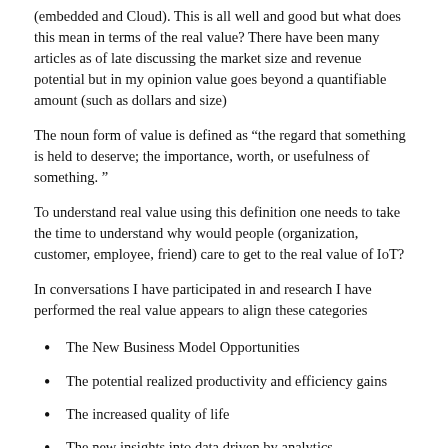(embedded and Cloud). This is all well and good but what does this mean in terms of the real value? There have been many articles as of late discussing the market size and revenue potential but in my opinion value goes beyond a quantifiable amount (such as dollars and size)
The noun form of value is defined as “the regard that something is held to deserve; the importance, worth, or usefulness of something. ”
To understand real value using this definition one needs to take the time to understand why would people (organization, customer, employee, friend) care to get to the real value of IoT?
In conversations I have participated in and research I have performed the real value appears to align these categories
The New Business Model Opportunities
The potential realized productivity and efficiency gains
The increased quality of life
The new insights into data driven by analytics